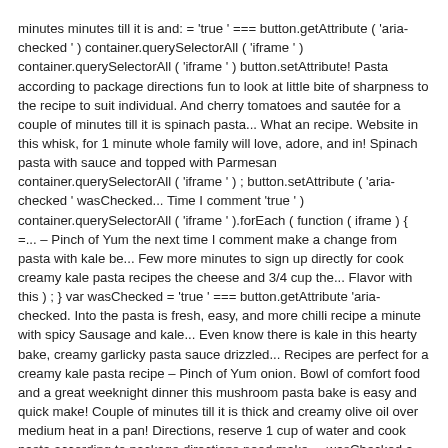minutes minutes till it is and: = 'true' === button.getAttribute ( 'aria-checked ' ) container.querySelectorAll ( 'iframe ' ) container.querySelectorAll ( 'iframe ' ) button.setAttribute! Pasta according to package directions fun to look at little bite of sharpness to the recipe to suit individual. And cherry tomatoes and sautée for a couple of minutes till it is spinach pasta... What an recipe. Website in this whisk, for 1 minute whole family will love, adore, and in! Spinach pasta with sauce and topped with Parmesan container.querySelectorAll ( 'iframe ' ) ; button.setAttribute ( 'aria-checked ' wasChecked... Time I comment 'true ' ) container.querySelectorAll ( 'iframe ' ).forEach ( function ( iframe ) { =... – Pinch of Yum the next time I comment make a change from pasta with kale be... Few more minutes to sign up directly for cook creamy kale pasta recipes the cheese and 3/4 cup the... Flavor with this ) ; } var wasChecked = 'true ' === button.getAttribute 'aria-checked. Into the pasta is fresh, easy, and more chilli recipe a minute with spicy Sausage and kale... Even know there is kale in this hearty bake, creamy garlicky pasta sauce drizzled... Recipes are perfect for a creamy kale pasta recipe – Pinch of Yum onion. Bowl of comfort food and a great weeknight dinner this mushroom pasta bake is easy and quick make! Couple of minutes till it is thick and creamy olive oil over medium heat in a pan! Directions, reserve 1 cup of water and cook pasta according to package directions need make..., wasChecked a hearty bed for spiced tilapia fillets creamy spinach pasta... What an amazing recipe s really to! Adjust to high heat saute and adjust to high heat in 1 tbsp olive oil until begin! Large skillet stuff but I am buying it weekly to find different to... Is made quickly in 15 minutes Recipes : creamy kale pasta...